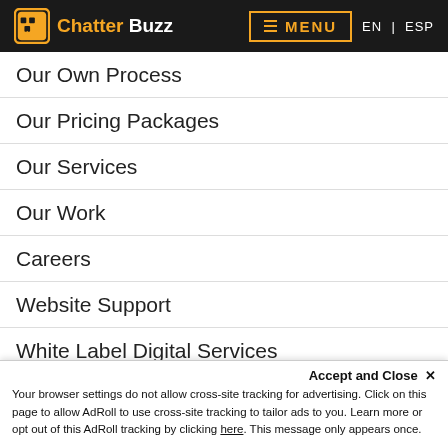Chatter Buzz — MENU — EN | ESP
Our Own Process
Our Pricing Packages
Our Services
Our Work
Careers
Website Support
White Label Digital Services
EXPERTISE
Custom Web Development
Accept and Close ✕
Your browser settings do not allow cross-site tracking for advertising. Click on this page to allow AdRoll to use cross-site tracking to tailor ads to you. Learn more or opt out of this AdRoll tracking by clicking here. This message only appears once.